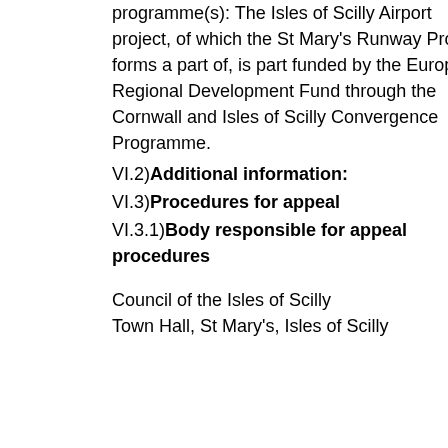programme(s): The Isles of Scilly Airport project, of which the St Mary's Runway Project forms a part of, is part funded by the European Regional Development Fund through the Cornwall and Isles of Scilly Convergence Programme.
VI.2)Additional information:
VI.3)Procedures for appeal
VI.3.1)Body responsible for appeal procedures
Council of the Isles of Scilly
Town Hall, St Mary's, Isles of Scilly